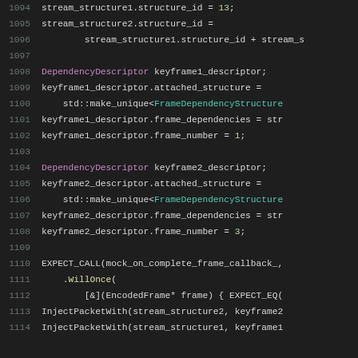Source code listing lines 1094-1114, C++ unit test code involving stream structures, DependencyDescriptor, keyframe descriptors, and EXPECT_CALL macros.